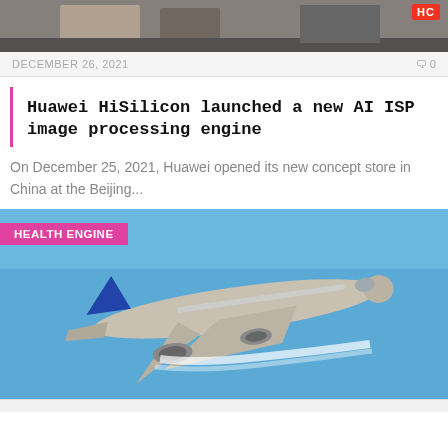[Figure (photo): Top cropped photo, partially visible, dark tones with HC badge top right]
DECEMBER 26, 2021   0
Huawei HiSilicon launched a new AI ISP image processing engine
On December 25, 2021, Huawei opened its new concept store in China at the Beijing...
[Figure (photo): Airplane (United Airlines Boeing 787) flying against blue sky with contrail. HEALTH ENGINE badge overlay top left.]